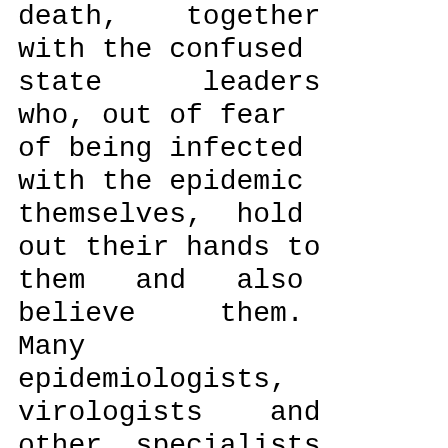death, together with the confused state leaders who, out of fear of being infected with the epidemic themselves, hold out their hands to them and also believe them. Many epidemiologists, virologists and other specialists and doctors are well aware that the effective truth is being concealed in the process, but they